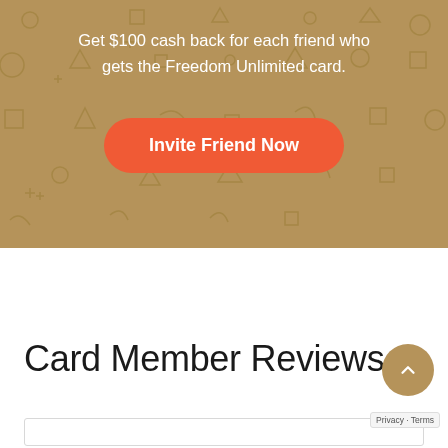[Figure (infographic): Gold/tan banner with decorative geometric shapes (triangles, squares, circles, curves, X marks) in a slightly darker shade. Contains promotional text and a call-to-action button.]
Get $100 cash back for each friend who gets the Freedom Unlimited card.
Invite Friend Now
Card Member Reviews